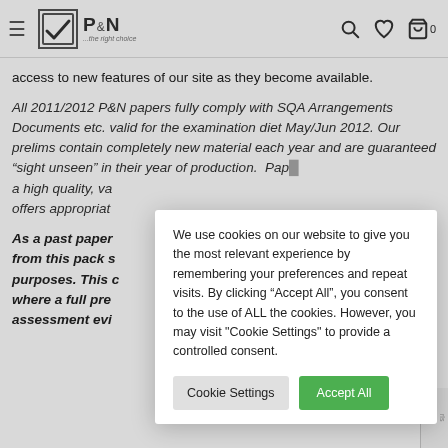P&N ...the right choice — navigation header with hamburger menu, logo, search, wishlist, and cart icons
access to new features of our site as they become available.
All 2011/2012 P&N papers fully comply with SQA Arrangements Documents etc. valid for the examination diet May/Jun 2012. Our prelims contain completely new material each year and are guaranteed “sight unseen” in their year of production. Pap... a high quality, va... offers appropriat...
As a past paper... from this pack s... purposes. This c... where a full pre... assessment evi...
We use cookies on our website to give you the most relevant experience by remembering your preferences and repeat visits. By clicking “Accept All”, you consent to the use of ALL the cookies. However, you may visit "Cookie Settings" to provide a controlled consent.
Cookie Settings
Accept All